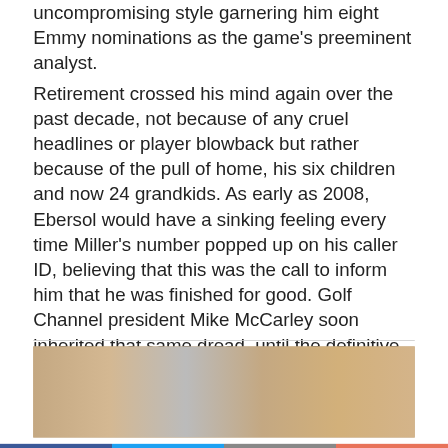uncompromising style garnering him eight Emmy nominations as the game's preeminent analyst.
Retirement crossed his mind again over the past decade, not because of any cruel headlines or player blowback but rather because of the pull of home, his six children and now 24 grandkids. As early as 2008, Ebersol would have a sinking feeling every time Miller's number popped up on his caller ID, believing that this was the call to inform him that he was finished for good. Golf Channel president Mike McCarley soon inherited that same dread, until the definitive call last fall.
[Figure (photo): A crowd of people seated, appearing to be at an event or gathering.]
Facebook | Twitter | Email | +